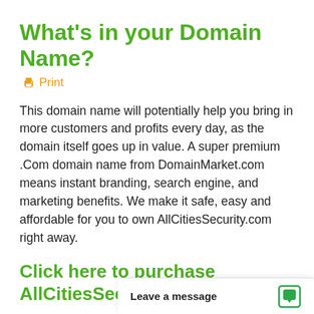What's in your Domain Name?
🖨 Print
This domain name will potentially help you bring in more customers and profits every day, as the domain itself goes up in value. A super premium .Com domain name from DomainMarket.com means instant branding, search engine, and marketing benefits. We make it safe, easy and affordable for you to own AllCitiesSecurity.com right away.
Click here to purchase AllCitiesSecurity.com
DomainMarket.com domains are carefully selected for branding excellence by the world's top domain name appraisers, so y...
Leave a message